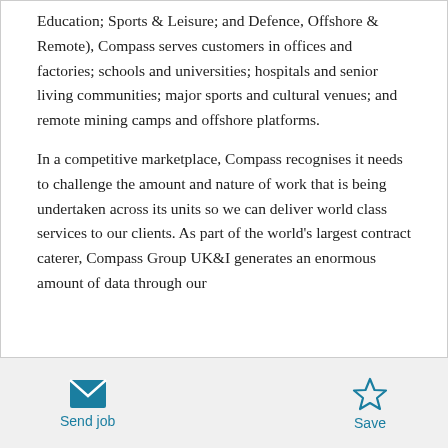Education; Sports & Leisure; and Defence, Offshore & Remote), Compass serves customers in offices and factories; schools and universities; hospitals and senior living communities; major sports and cultural venues; and remote mining camps and offshore platforms.
In a competitive marketplace, Compass recognises it needs to challenge the amount and nature of work that is being undertaken across its units so we can deliver world class services to our clients. As part of the world's largest contract caterer, Compass Group UK&I generates an enormous amount of data through our
Send job  Save